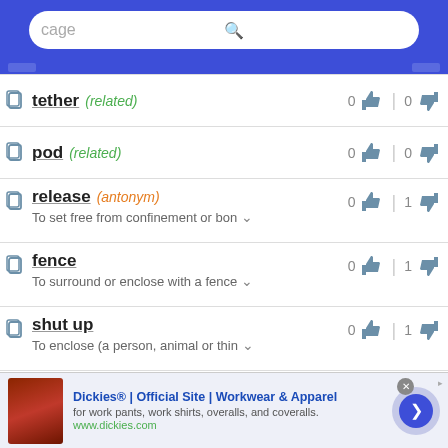cage (search box)
tether (related) — 0 thumbs up | 0 thumbs down
pod (related) — 0 thumbs up | 0 thumbs down
release (antonym) — To set free from confinement or bon... — 0 thumbs up | 1 thumbs down
fence — To surround or enclose with a fence... — 0 thumbs up | 1 thumbs down
shut up — To enclose (a person, animal or thin... — 0 thumbs up | 1 thumbs down
[Figure (screenshot): Advertisement banner: Dickies Official Site Workwear & Apparel — for work pants, work shirts, overalls, and coveralls. www.dickies.com]